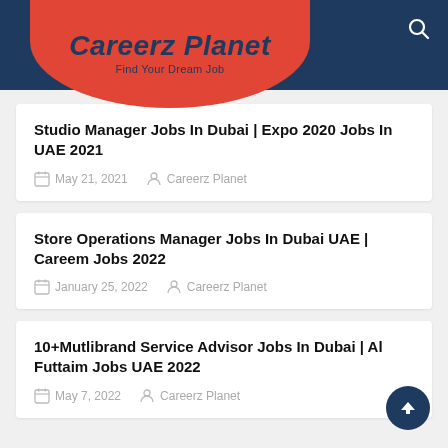Careerz Planet – Find Your Dream Job
Studio Manager Jobs In Dubai | Expo 2020 Jobs In UAE 2021
May 21, 2021  Careerz Planet
Store Operations Manager Jobs In Dubai UAE | Careem Jobs 2022
January 25, 2022  Careerz Planet
10+Mutlibrand Service Advisor Jobs In Dubai | Al Futtaim Jobs UAE 2022
May 7, 2022  Careerz Planet